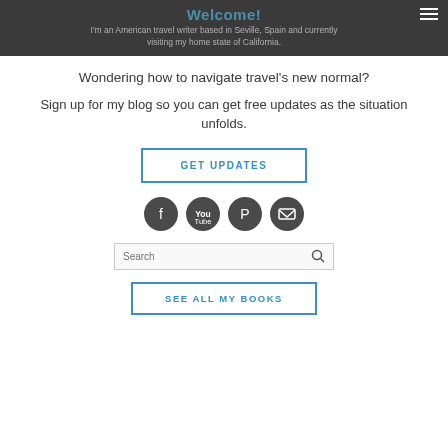Welcome!
I'm an American travel writer based in Seville, Spain and currently visiting my home state of California.
Wondering how to navigate travel's new normal?
Sign up for my blog so you can get free updates as the situation unfolds.
GET UPDATES
[Figure (infographic): Four dark circular social media icons: Facebook, YouTube, Pinterest, Email]
Search
SEE ALL MY BOOKS